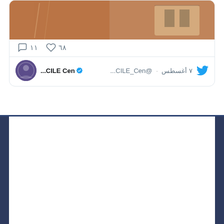[Figure (screenshot): Tweet card showing a photo of a wooden-toned interior/stage setting with chairs and text, with like count 68 and comment count 11]
٦٨  ١١
٧ أغسطس · @CILE_Cen... ✓ CILE Cen...